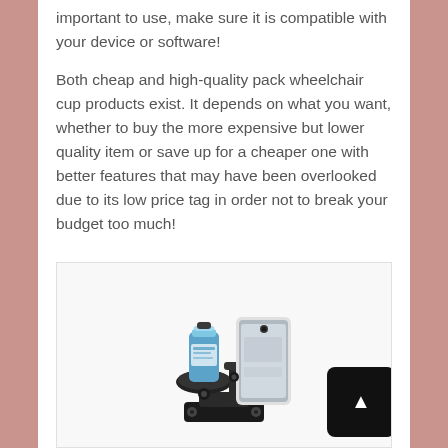important to use, make sure it is compatible with your device or software!
Both cheap and high-quality pack wheelchair cup products exist. It depends on what you want, whether to buy the more expensive but lower quality item or save up for a cheaper one with better features that may have been overlooked due to its low price tag in order not to break your budget too much!
[Figure (photo): A wheelchair cup holder product holding a water bottle and a smartphone, shown partially at the bottom of the page.]